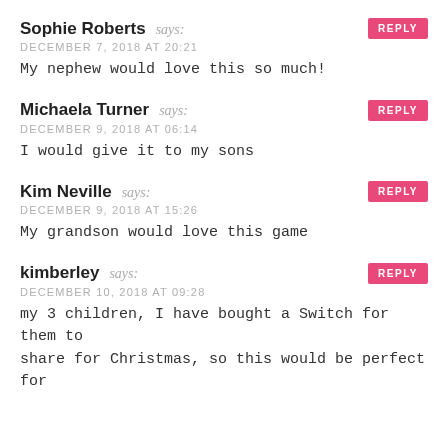Sophie Roberts says: DECEMBER 7, 2018 AT 20:21 — My nephew would love this so much!
Michaela Turner says: DECEMBER 9, 2018 AT 06:14 — I would give it to my sons
Kim Neville says: DECEMBER 9, 2018 AT 15:26 — My grandson would love this game
kimberley says: DECEMBER 10, 2018 AT 09:28 — my 3 children, I have bought a Switch for them to share for Christmas, so this would be perfect for